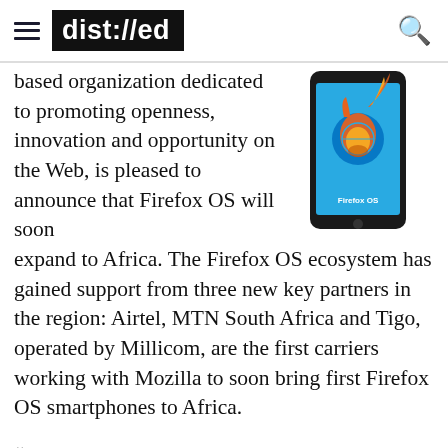dist://ed
based organization dedicated to promoting openness, innovation and opportunity on the Web, is pleased to announce that Firefox OS will soon expand to Africa. The Firefox OS ecosystem has gained support from three new key partners in the region: Airtel, MTN South Africa and Tigo, operated by Millicom, are the first carriers working with Mozilla to soon bring first Firefox OS smartphones to Africa.
[Figure (illustration): Firefox OS phone with Firefox logo (orange fox) on a blue background, displayed on a smartphone]
“We are proud to see that with Airtel, MTN South Africa and Tigo, Firefox OS gains